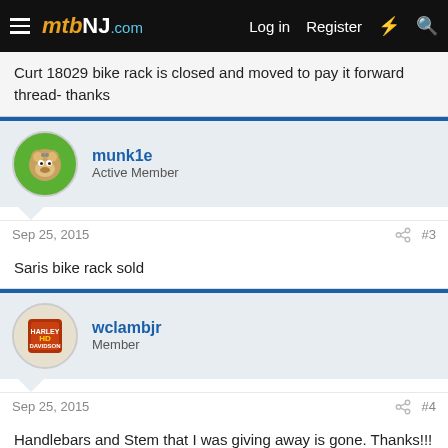mtbNJ.com — Log in  Register
Curt 18029 bike rack is closed and moved to pay it forward thread- thanks
munk1e
Active Member
Sep 25, 2015  #3
Saris bike rack sold
wclambjr
Member
Sep 25, 2015  #4
Handlebars and Stem that I was giving away is gone. Thanks!!!
Free Bontrager Crowbar MTB bars